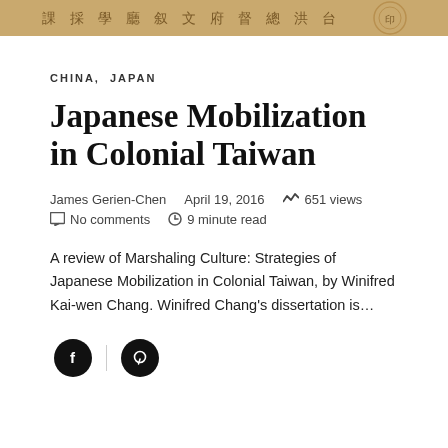[Figure (photo): Header image with Chinese/Japanese characters on a tan/gold background, resembling a historical document or seal. Text reads characters from right to left.]
CHINA, JAPAN
Japanese Mobilization in Colonial Taiwan
James Gerien-Chen    April 19, 2016    651 views
No comments    9 minute read
A review of Marshaling Culture: Strategies of Japanese Mobilization in Colonial Taiwan, by Winifred Kai-wen Chang. Winifred Chang's dissertation is…
[Figure (logo): Social media share icons: Facebook (circle with f) and Pinterest (circle with P)]